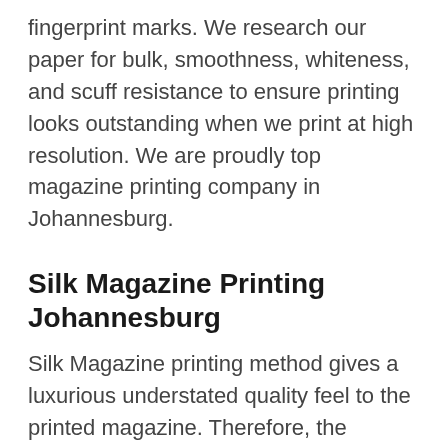fingerprint marks. We research our paper for bulk, smoothness, whiteness, and scuff resistance to ensure printing looks outstanding when we print at high resolution. We are proudly top magazine printing company in Johannesburg.
Silk Magazine Printing Johannesburg
Silk Magazine printing method gives a luxurious understated quality feel to the printed magazine. Therefore, the printing method is useful for business to business publishing and as a marketing material. Because it is more prone to scuffing than gloss papers, we recommend that an overprint silk coating is specified, to protect the quality of the print. The silk we use gives exceptional results and gives you everything you want